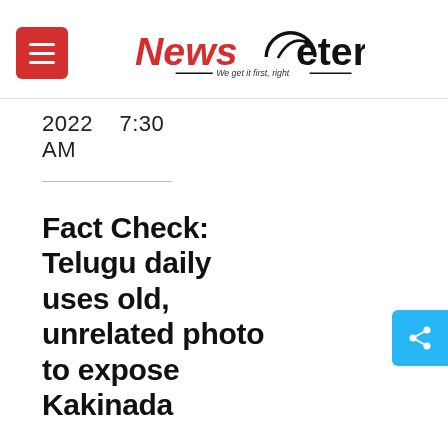NewsMeter — We get it first, right
2022  7:30 AM
Fact Check: Telugu daily uses old, unrelated photo to expose Kakinada